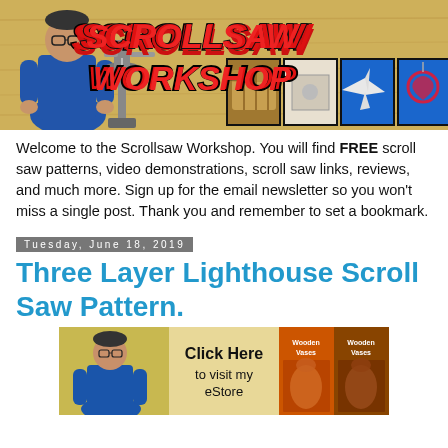[Figure (illustration): Scrollsaw Workshop website header banner with red italic bold title text 'SCROLLSAW WORKSHOP', a man in blue shirt, a scroll saw machine, and four thumbnail images of wooden crafts (basket, decorative box, airplane, pendant)]
Welcome to the Scrollsaw Workshop. You will find FREE scroll saw patterns, video demonstrations, scroll saw links, reviews, and much more. Sign up for the email newsletter so you won't miss a single post. Thank you and remember to set a bookmark.
Tuesday, June 18, 2019
Three Layer Lighthouse Scroll Saw Pattern.
[Figure (illustration): Bottom banner with man in blue shirt, 'Click Here to visit my eStore' text, and two Wooden Vases book cover images]